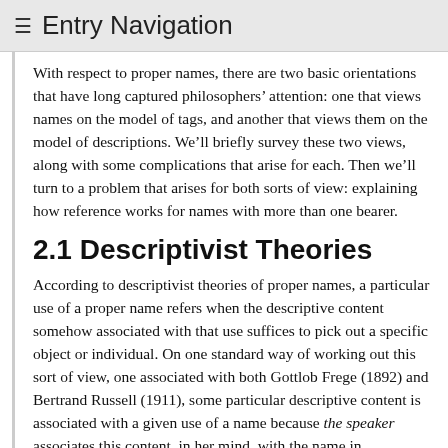≡ Entry Navigation
With respect to proper names, there are two basic orientations that have long captured philosophers' attention: one that views names on the model of tags, and another that views them on the model of descriptions. We'll briefly survey these two views, along with some complications that arise for each. Then we'll turn to a problem that arises for both sorts of view: explaining how reference works for names with more than one bearer.
2.1 Descriptivist Theories
According to descriptivist theories of proper names, a particular use of a proper name refers when the descriptive content somehow associated with that use suffices to pick out a specific object or individual. On one standard way of working out this sort of view, one associated with both Gottlob Frege (1892) and Bertrand Russell (1911), some particular descriptive content is associated with a given use of a name because the speaker associates this content, in her mind, with the name in